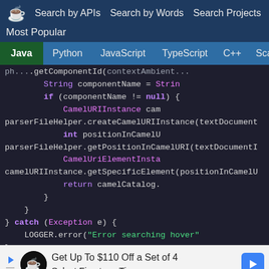Search by APIs   Search by Words   Search Projects   Most Popular
Java  Python  JavaScript  TypeScript  C++  Scala
[Figure (screenshot): Java code snippet showing CamelURIInstance, parserFileHelper methods, catch block with LOGGER.error, and return CompletableFuture.completedFuture(null)]
Get Up To $110 Off a Set of 4 Select Firestone Tires